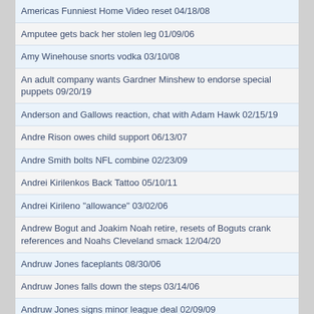Americas Funniest Home Video reset 04/18/08
Amputee gets back her stolen leg 01/09/06
Amy Winehouse snorts vodka 03/10/08
An adult company wants Gardner Minshew to endorse special puppets 09/20/19
Anderson and Gallows reaction, chat with Adam Hawk 02/15/19
Andre Rison owes child support 06/13/07
Andre Smith bolts NFL combine 02/23/09
Andrei Kirilenkos Back Tattoo 05/10/11
Andrei Kirileno "allowance" 03/02/06
Andrew Bogut and Joakim Noah retire, resets of Boguts crank references and Noahs Cleveland smack 12/04/20
Andruw Jones faceplants 08/30/06
Andruw Jones falls down the steps 03/14/06
Andruw Jones signs minor league deal 02/09/09
Andy Gresh filling in for Rome, Beaks fat smack 11/26/20
Andy Roddick blames fast food for losing 07/31/07
Anna Nicole Smith dies 02/08/07
Anniversary of Eric in Orlando glossing James Kelley 'Flight Deck' 06/07/21
Announcement reaction 07/11/06
Announcement Reaction 1 07/11/06
Announcement reaction 2 07/11/06